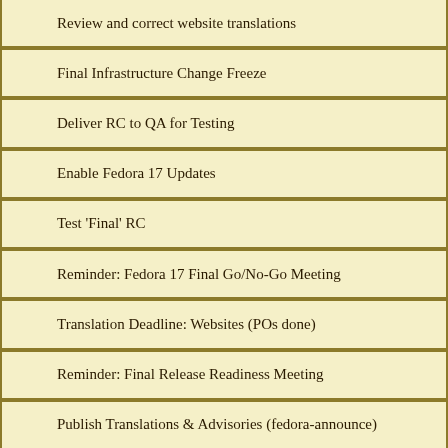Review and correct website translations
Final Infrastructure Change Freeze
Deliver RC to QA for Testing
Enable Fedora 17 Updates
Test 'Final' RC
Reminder: Fedora 17 Final Go/No-Go Meeting
Translation Deadline: Websites (POs done)
Reminder: Final Release Readiness Meeting
Publish Translations & Advisories (fedora-announce)